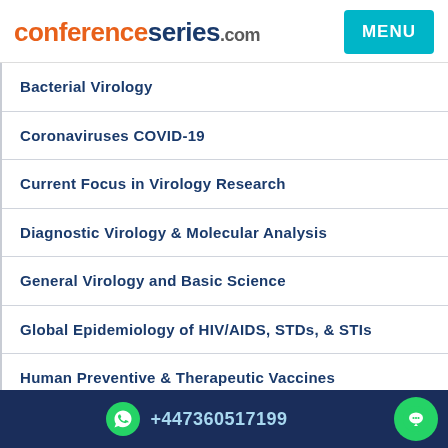conferenceseries.com MENU
Bacterial Virology
Coronaviruses COVID-19
Current Focus in Virology Research
Diagnostic Virology & Molecular Analysis
General Virology and Basic Science
Global Epidemiology of HIV/AIDS, STDs, & STIs
Human Preventive & Therapeutic Vaccines
Human Vaccines - Infectious & Non Infectious Diseases
+447360517199